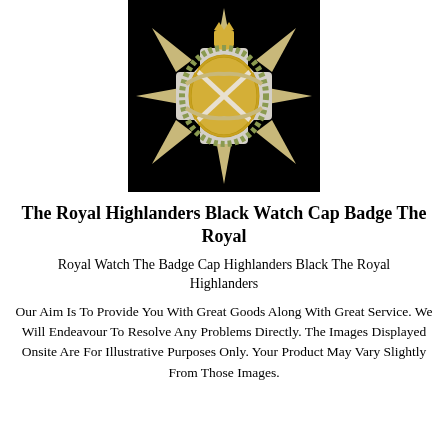[Figure (photo): A military cap badge — The Royal Highlanders Black Watch cap badge, gold and silver star-shaped badge with crown on top and Scottish saltire emblem in the centre, photographed on black background.]
The Royal Highlanders Black Watch Cap Badge The Royal
Royal Watch The Badge Cap Highlanders Black The Royal Highlanders
Our Aim Is To Provide You With Great Goods Along With Great Service. We Will Endeavour To Resolve Any Problems Directly. The Images Displayed Onsite Are For Illustrative Purposes Only. Your Product May Vary Slightly From Those Images.